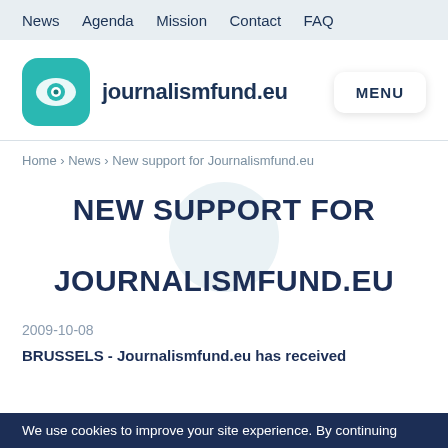News  Agenda  Mission  Contact  FAQ
[Figure (logo): Journalismfund.eu logo: teal rounded square with eye icon, followed by text 'journalismfund.eu'. MENU button on the right.]
Home › News › New support for Journalismfund.eu
NEW SUPPORT FOR JOURNALISMFUND.EU
2009-10-08
BRUSSELS - Journalismfund.eu has received
We use cookies to improve your site experience. By continuing